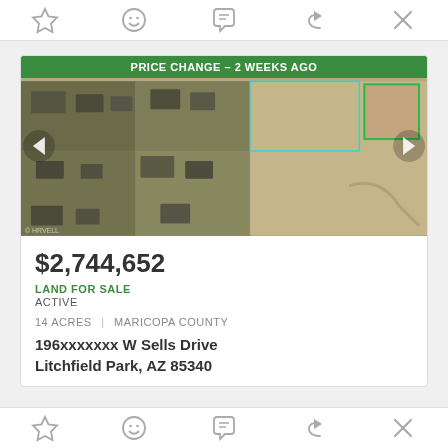[Figure (other): Top action bar with star, smiley, chat, share, and close icons]
[Figure (photo): Aerial satellite map of land parcel with 'PRICE CHANGE - 2 WEEKS AGO' green banner, left and right navigation arrows, showing residential parcels and open land in Litchfield Park, AZ area]
$2,744,652
LAND FOR SALE
ACTIVE
14 ACRES | MARICOPA COUNTY
196xxxxxxx W Sells Drive Litchfield Park, AZ 85340
[Figure (other): Bottom action bar with star, smiley, chat, share, and close icons]